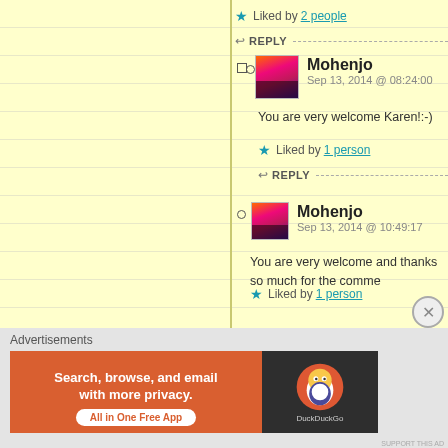★ Liked by 2 people
↩ REPLY
Mohenjo
Sep 13, 2014 @ 08:24:00
You are very welcome Karen!:-)
★ Liked by 1 person
↩ REPLY
Mohenjo
Sep 13, 2014 @ 10:49:17
You are very welcome and thanks so much for the comme
★ Liked by 1 person
Advertisements
[Figure (screenshot): DuckDuckGo advertisement banner: orange section with text 'Search, browse, and email with more privacy. All in One Free App' and dark section with DuckDuckGo duck logo]